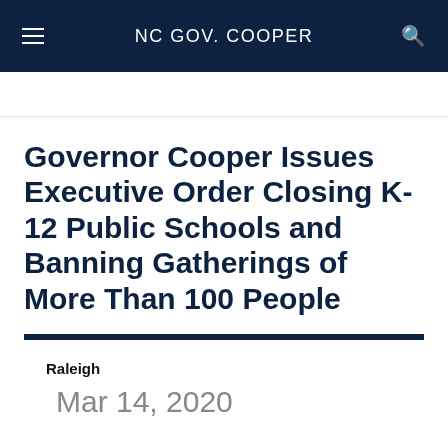NC GOV. COOPER
Governor Cooper Issues Executive Order Closing K-12 Public Schools and Banning Gatherings of More Than 100 People
Raleigh
Mar 14, 2020